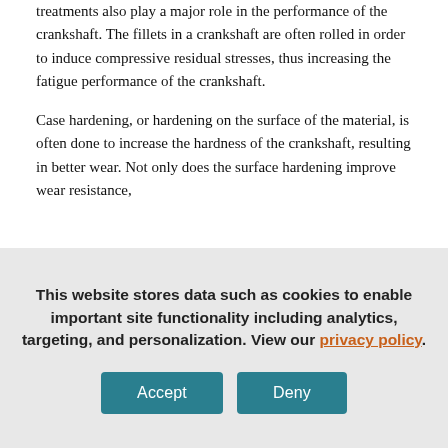treatments also play a major role in the performance of the crankshaft. The fillets in a crankshaft are often rolled in order to induce compressive residual stresses, thus increasing the fatigue performance of the crankshaft.
Case hardening, or hardening on the surface of the material, is often done to increase the hardness of the crankshaft, resulting in better wear. Not only does the surface hardening improve wear resistance,
This website stores data such as cookies to enable important site functionality including analytics, targeting, and personalization. View our privacy policy.